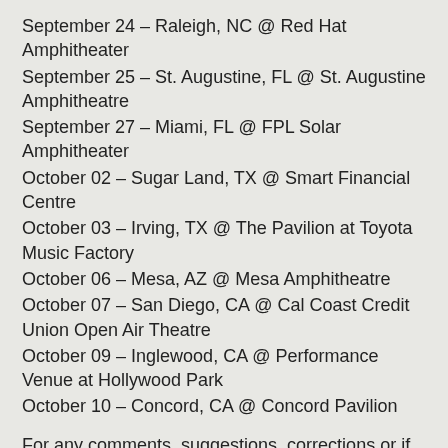September 24 – Raleigh, NC @ Red Hat Amphitheater
September 25 – St. Augustine, FL @ St. Augustine Amphitheatre
September 27 – Miami, FL @ FPL Solar Amphitheater
October 02 – Sugar Land, TX @ Smart Financial Centre
October 03 – Irving, TX @ The Pavilion at Toyota Music Factory
October 06 – Mesa, AZ @ Mesa Amphitheatre
October 07 – San Diego, CA @ Cal Coast Credit Union Open Air Theatre
October 09 – Inglewood, CA @ Performance Venue at Hollywood Park
October 10 – Concord, CA @ Concord Pavilion
For any comments, suggestions, corrections or if you think we left something out, please contact us at contact@ticketcrusader.com.